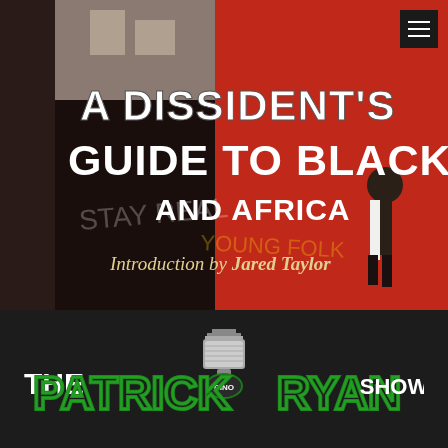[Figure (illustration): Book cover of 'A Dissident's Guide to Blacks and Africa, Introduction by Jared Taylor' showing a red graffiti-covered wall with a person walking]
[Figure (logo): The Patrick (DINO) Ryan Show logo in green and white on dark background with microphone graphic]